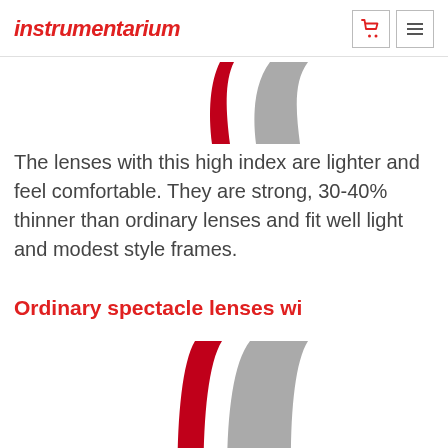instrumentarium
[Figure (illustration): Partial view of two lens cross-sections: a thin red lens on the left and a thicker grey lens on the right, cropped at top of page]
The lenses with this high index are lighter and feel comfortable. They are strong, 30-40% thinner than ordinary lenses and fit well light and modest style frames.
Ordinary spectacle lenses wi
[Figure (illustration): Two lens cross-sections: a thin curved red lens on the left and a wider curved grey lens on the right, showing thickness comparison]